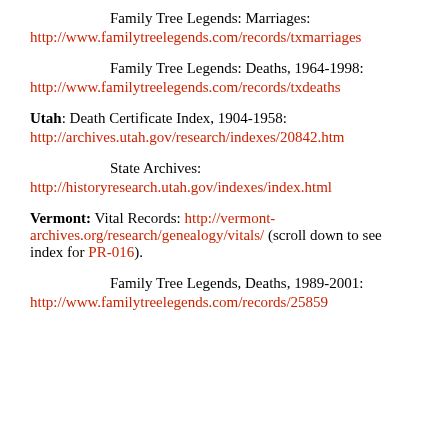Family Tree Legends: Marriages:
http://www.familytreelegends.com/records/txmarriages
Family Tree Legends: Deaths, 1964-1998:
http://www.familytreelegends.com/records/txdeaths
Utah: Death Certificate Index, 1904-1958:
http://archives.utah.gov/research/indexes/20842.htm
State Archives:
http://historyresearch.utah.gov/indexes/index.html
Vermont: Vital Records: http://vermont-archives.org/research/genealogy/vitals/  (scroll down to see index for PR-016).
Family Tree Legends, Deaths, 1989-2001:
http://www.familytreelegends.com/records/25859